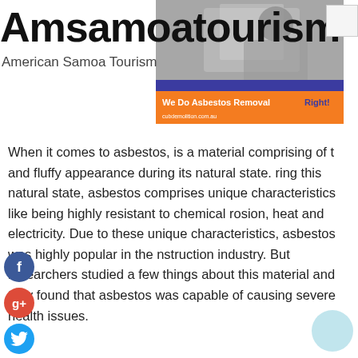Amsamoatourism
American Samoa Tourism
[Figure (photo): Black and white photo of a worker doing insulation or construction work, with an orange and blue advertising banner overlay reading 'We Do Asbestos Removal Right!' and 'cubdemolition.com.au']
When it comes to asbestos, is a material comprising of t and fluffy appearance during its natural state. ring this natural state, asbestos comprises unique characteristics like being highly resistant to chemical rosion, heat and electricity. Due to these unique characteristics, asbestos was highly popular in the nstruction industry. But researchers studied a few things about this material and they found that asbestos was capable of causing severe health issues.